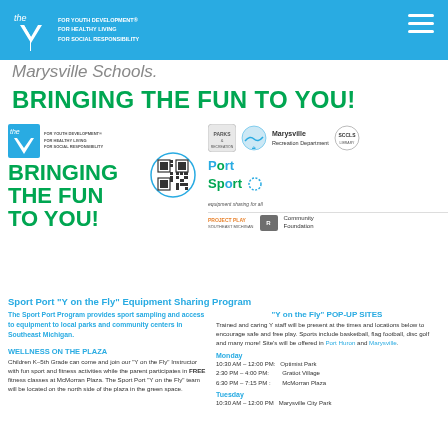YMCA header with logo and tagline: FOR YOUTH DEVELOPMENT, FOR HEALTHY LIVING, FOR SOCIAL RESPONSIBILITY
Marysville Schools.
BRINGING THE FUN TO YOU!
[Figure (logo): Partner logos: YMCA, Parks & Recreation, Marysville Recreation Department, SCCLS, Port Sport equipment sharing for all, Project Play Southeast Michigan, Community Foundation]
Sport Port "Y on the Fly" Equipment Sharing Program
The Sport Port Program provides sport sampling and access to equipment to local parks and community centers in Southeast Michigan.
WELLNESS ON THE PLAZA
Children K–5th Grade can come and join our "Y on the Fly" Instructor with fun sport and fitness activities while the parent participates in FREE fitness classes at McMorran Plaza. The Sport Port "Y on the Fly" team will be located on the north side of the plaza in the green space.
"Y on the Fly" POP-UP SITES
Trained and caring Y staff will be present at the times and locations below to encourage safe and free play. Sports include basketball, flag football, disc golf and many more! Site's will be offered in Port Huron and Marysville.
Monday
10:30 AM – 12:00 PM:   Optimist Park
2:30 PM – 4:00 PM:        Gratiot Village
6:30 PM – 7:15 PM:         McMorran Plaza
Tuesday
10:30 AM – 12:00 PM    Marysville City Park